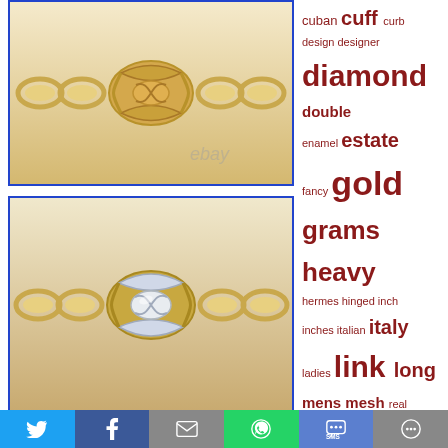[Figure (photo): Close-up photo of a gold chain bracelet with a decorative knot clasp, eBay watermark visible]
[Figure (photo): Close-up photo of a two-tone gold chain bracelet with a decorative knot clasp showing white and yellow gold contrast]
cuban cuff curb design designer diamond double enamel estate fancy gold grams heavy hermes hinged inch inches italian italy ladies link long mens mesh real rope rose silver solid sterling style tennis tiffany victorian vintage white wide womens woven yellow
Random links
Meta
Posts